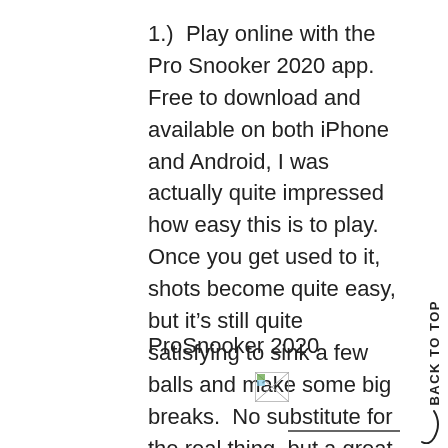1.)  Play online with the Pro Snooker 2020 app.  Free to download and available on both iPhone and Android, I was actually quite impressed how easy this is to play.  Once you get used to it, shots become quite easy, but it’s still quite satisfying to sink a few balls and make some big breaks.  No substitute for the real thing, but a great distraction from the doom and gloom!  And you can also play against others online.
ProSnooker 2020
[Figure (other): Small broken/placeholder image icon]
BACK TO TOP